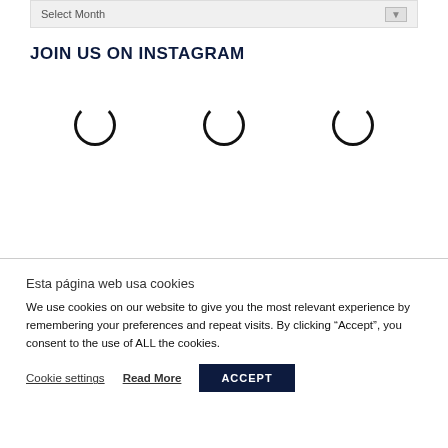[Figure (screenshot): Select Month dropdown bar with arrow button]
JOIN US ON INSTAGRAM
[Figure (other): Three loading spinner arc icons arranged in a row]
Esta página web usa cookies
We use cookies on our website to give you the most relevant experience by remembering your preferences and repeat visits. By clicking “Accept”, you consent to the use of ALL the cookies.
Cookie settings   Read More   ACCEPT